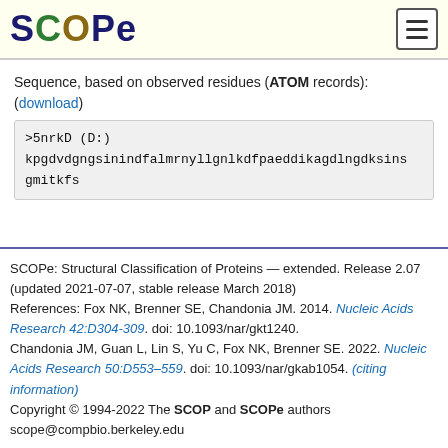SCOPe
Sequence, based on observed residues (ATOM records): (download)
>5nrkD (D:)
kpgdvdgngsinindfalmrnyllgnlkdfpaeddikagdlngdksins
gmitkfs
SCOPe: Structural Classification of Proteins — extended. Release 2.07 (updated 2021-07-07, stable release March 2018)
References: Fox NK, Brenner SE, Chandonia JM. 2014. Nucleic Acids Research 42:D304-309. doi: 10.1093/nar/gkt1240.
Chandonia JM, Guan L, Lin S, Yu C, Fox NK, Brenner SE. 2022. Nucleic Acids Research 50:D553–559. doi: 10.1093/nar/gkab1054. (citing information)
Copyright © 1994-2022 The SCOP and SCOPe authors
scope@compbio.berkeley.edu